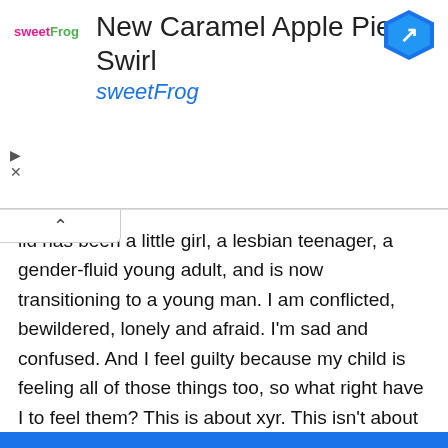[Figure (screenshot): Advertisement banner for sweetFrog 'New Caramel Apple Pie Swirl' with sweetFrog logo, brand name, and a blue navigation arrow icon on the right. Play and close/X controls on the left side.]
ild has been a little girl, a lesbian teenager, a gender-fluid young adult, and is now transitioning to a young man. I am conflicted, bewildered, lonely and afraid. I'm sad and confused. And I feel guilty because my child is feeling all of those things too, so what right have I to feel them? This is about xyr. This isn't about me. Except that it is. Much as I might be irritated and disappointed with myself, as long as our society at large treats transgender people as creepy malevolent spirits, I will have to keep cleaning out my internal house. But it is not xyr job to help me clear away the cobwebs. It's mine. So this is me looking straight at the shadows both outside and inside myself that are drifting around my much-loved Offspring, and turning on the light.